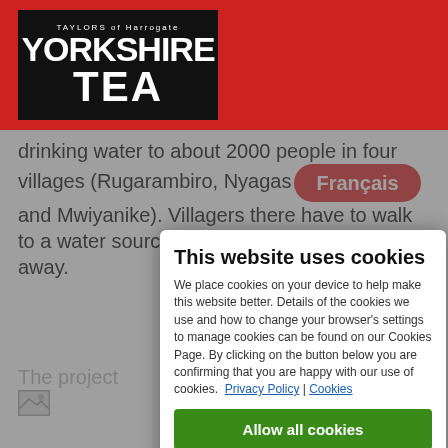[Figure (logo): Yorkshire Tea logo - white text on black background with red header bar]
drinking water to about 2000 people in four villages (Rugarambiro, Nyagas and Mwiyanike). Villagers there have to walk to a water source which is a very hilly 1km away.
Ian said: "We have been buying tea from Rwanda for over 30 years and from Nyabihu for over 10 years. Nyabihu is in the north west of Rwanda, in the foothills of the mountains gorilla..."
"We have a long-term buying agreement in place with Nyabihu too which means they know we will buying from them every year."
[Figure (photo): Small image icon placeholder]
The project ...ecting
This website uses cookies
We place cookies on your device to help make this website better. Details of the cookies we use and how to change your browser's settings to manage cookies can be found on our Cookies Page. By clicking on the button below you are confirming that you are happy with our use of cookies.
Privacy Policy | Cookies
Allow all cookies
Allow selection
Reject all (necessary cookies only)